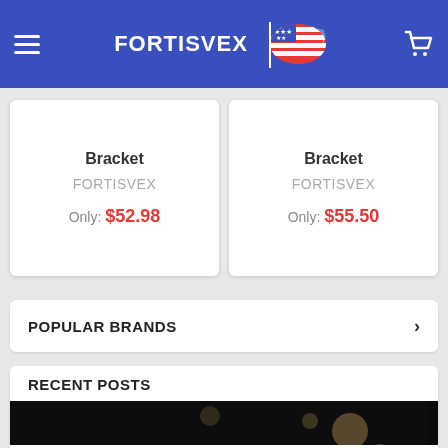[Figure (screenshot): FORTISVEX website header with blue background, hamburger menu on left, FORTISVEX logo with American flag icon in center, shopping cart icon on right]
Bracket
FORTISVEX
Only: $52.98
Bracket
FORTISVEX
Only: $55.50
POPULAR BRANDS
RECENT POSTS
[Figure (photo): Dark photograph of sparklers and American flag, celebratory/patriotic theme]